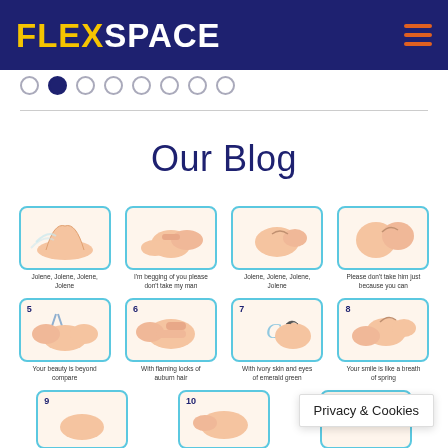FLEXSPACE
[Figure (infographic): Navigation dots row, 8 circles with second one filled/active]
Our Blog
[Figure (illustration): Grid of hand washing instruction illustrations, first row: 4 thumbnails with captions: 'Jolene, Jolene, Jolene, Jolene', 'I'm begging of you please don't take my man', 'Jolene, Jolene, Jolene, Jolene', 'Please don't take him just because you can']
[Figure (illustration): Second row of hand washing illustrations: 'Your beauty is beyond compare', 'With flaming locks of auburn hair', 'With ivory skin and eyes of emerald green', 'Your smile is like a breath of spring']
[Figure (illustration): Third row of hand washing illustrations partially visible at bottom]
Privacy & Cookies